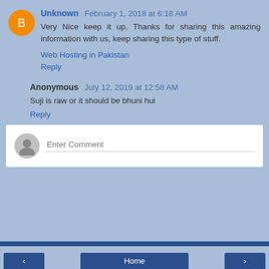Unknown  February 1, 2018 at 6:18 AM
Very Nice keep it up, Thanks for sharing this amazing information with us, keep sharing this type of stuff.
Web Hosting in Pakistan
Reply
Anonymous  July 12, 2019 at 12:58 AM
Suji is raw or it should be bhuni hui
Reply
Enter Comment
Home